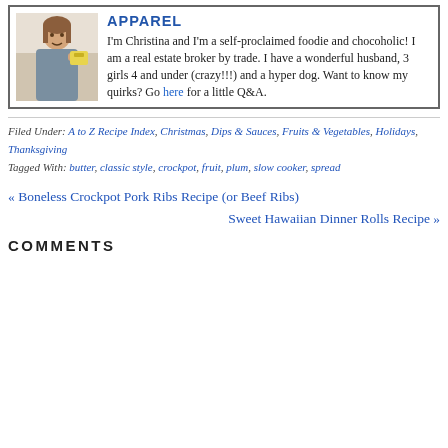[Figure (photo): Profile photo of Christina, a woman smiling, holding something, with a background of what appears to be a kitchen or indoor setting.]
APPAREL
I'm Christina and I'm a self-proclaimed foodie and chocoholic! I am a real estate broker by trade. I have a wonderful husband, 3 girls 4 and under (crazy!!!) and a hyper dog. Want to know my quirks? Go here for a little Q&A.
Filed Under: A to Z Recipe Index, Christmas, Dips & Sauces, Fruits & Vegetables, Holidays, Thanksgiving
Tagged With: butter, classic style, crockpot, fruit, plum, slow cooker, spread
« Boneless Crockpot Pork Ribs Recipe (or Beef Ribs)
Sweet Hawaiian Dinner Rolls Recipe »
COMMENTS